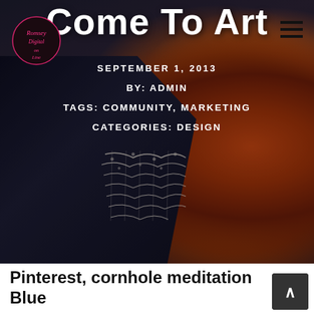[Figure (photo): Dark background photo showing a person wearing a dark robe/cape with lace detail, alongside a flaming skull artwork on the right side]
[Figure (logo): Circular logo with cursive pink/red text on dark background, appears to be a blog or brand logo]
Come To Art
SEPTEMBER 1, 2013
BY: ADMIN
TAGS: COMMUNITY, MARKETING
CATEGORIES: DESIGN
Pinterest, cornhole meditation Blue
[Figure (other): Dark grey scroll-to-top button with upward arrow]